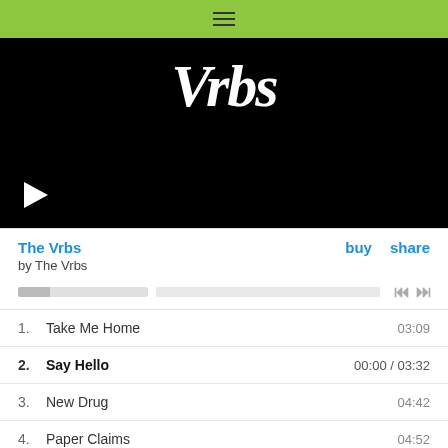[Figure (screenshot): Green navigation bar with hamburger menu icon]
[Figure (screenshot): Music player album art area showing 'Vrbs' text in white on black background with a play button in bottom left]
The Vrbs
buy   share
by The Vrbs
1.  Take Me Home   03:09
2.  Say Hello   00:00 / 03:32
3.  New Drug   04:42
4.  Paper Claims   04:52